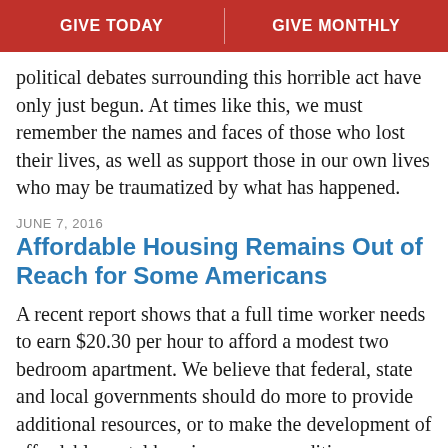GIVE TODAY | GIVE MONTHLY
political debates surrounding this horrible act have only just begun. At times like this, we must remember the names and faces of those who lost their lives, as well as support those in our own lives who may be traumatized by what has happened.
JUNE 7, 2016
Affordable Housing Remains Out of Reach for Some Americans
A recent report shows that a full time worker needs to earn $20.30 per hour to afford a modest two bedroom apartment. We believe that federal, state and local governments should do more to provide additional resources, or to make the development of affordable rental housing more expeditious.